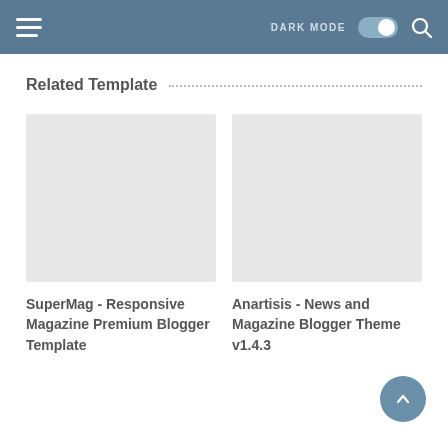DARK MODE [toggle] [search]
Related Template
[Figure (screenshot): Empty grey card placeholder for SuperMag template]
SuperMag - Responsive Magazine Premium Blogger Template
[Figure (screenshot): Empty grey card placeholder for Anartisis template]
Anartisis - News and Magazine Blogger Theme v1.4.3